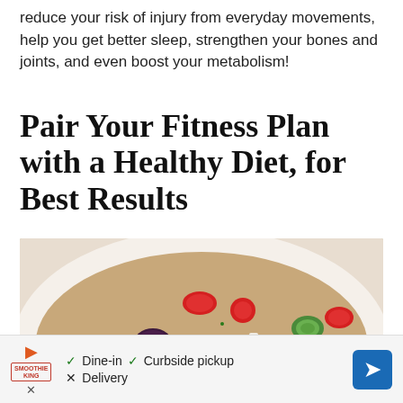reduce your risk of injury from everyday movements, help you get better sleep, strengthen your bones and joints, and even boost your metabolism!
Pair Your Fitness Plan with a Healthy Diet, for Best Results
[Figure (photo): Close-up photo of a healthy grain salad bowl with olives, tomatoes, cucumber, red onion, feta cheese, and herbs on a white plate]
[Figure (other): Advertisement bar for Smoothie King showing dine-in, curbside pickup, and delivery options with navigation icon]